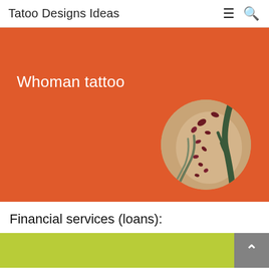Tatoo Designs Ideas
[Figure (illustration): Orange/red banner with white text 'Whoman tattoo' and a circular photo of a tattoo on a woman's body (floral and tree design) in the lower right area of the banner.]
Financial services (loans):
[Figure (illustration): Green/yellow-green banner partially visible at the bottom of the page, with a gray back-to-top button with upward chevron arrow in the bottom right corner.]